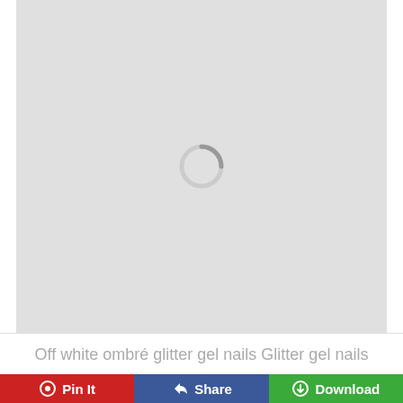[Figure (photo): Large light gray image area with a loading spinner (circular arc) centered in the middle, indicating an image that has not yet loaded.]
Off white ombré glitter gel nails Glitter gel nails
Pin It
Share
Download